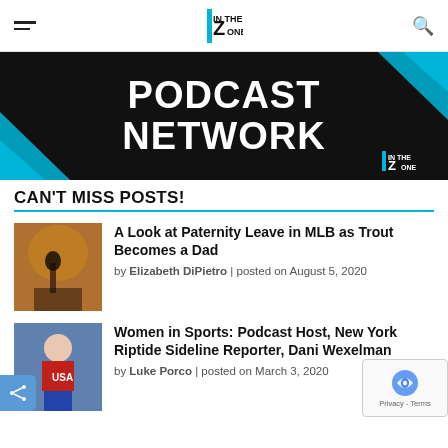IN THE ZONE
[Figure (illustration): Dark banner with teal/cyan accent stripes on left and right corners, reading PODCAST NETWORK in large white bold uppercase letters, with a small 'In The Zone' logo in the bottom right.]
CAN'T MISS POSTS!
A Look at Paternity Leave in MLB as Trout Becomes a Dad by Elizabeth DiPietro | posted on August 5, 2020
Women in Sports: Podcast Host, New York Riptide Sideline Reporter, Dani Wexelman by Luke Porco | posted on March 3, 2020